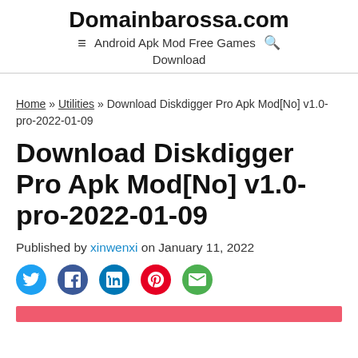Domainbarossa.com Android Apk Mod Free Games Download
Home » Utilities » Download Diskdigger Pro Apk Mod[No] v1.0-pro-2022-01-09
Download Diskdigger Pro Apk Mod[No] v1.0-pro-2022-01-09
Published by xinwenxi on January 11, 2022
[Figure (other): Social share icons: Twitter, Facebook, LinkedIn, Pinterest, Email]
[Figure (other): Red/pink banner bar at bottom of page]